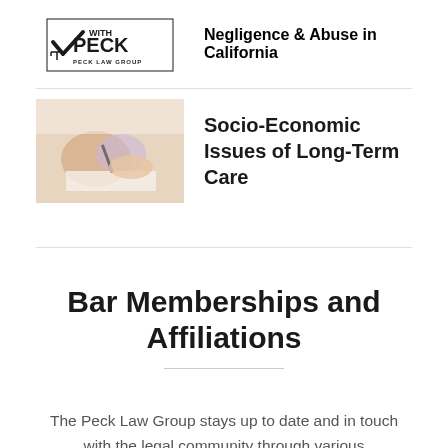Negligence & Abuse in California
Socio-Economic Issues of Long-Term Care
Bar Memberships and Affiliations
The Peck Law Group stays up to date and in touch with the legal community through various memberships and affiliations.